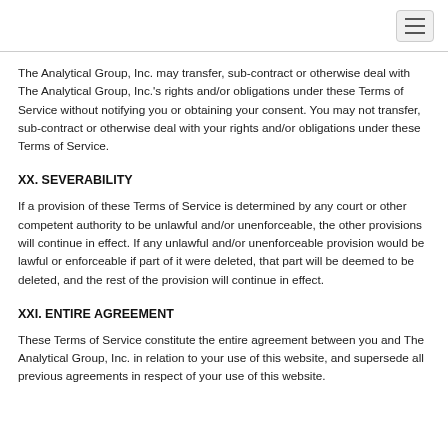The Analytical Group, Inc. may transfer, sub-contract or otherwise deal with The Analytical Group, Inc.'s rights and/or obligations under these Terms of Service without notifying you or obtaining your consent. You may not transfer, sub-contract or otherwise deal with your rights and/or obligations under these Terms of Service.
XX. SEVERABILITY
If a provision of these Terms of Service is determined by any court or other competent authority to be unlawful and/or unenforceable, the other provisions will continue in effect. If any unlawful and/or unenforceable provision would be lawful or enforceable if part of it were deleted, that part will be deemed to be deleted, and the rest of the provision will continue in effect.
XXI. ENTIRE AGREEMENT
These Terms of Service constitute the entire agreement between you and The Analytical Group, Inc. in relation to your use of this website, and supersede all previous agreements in respect of your use of this website.